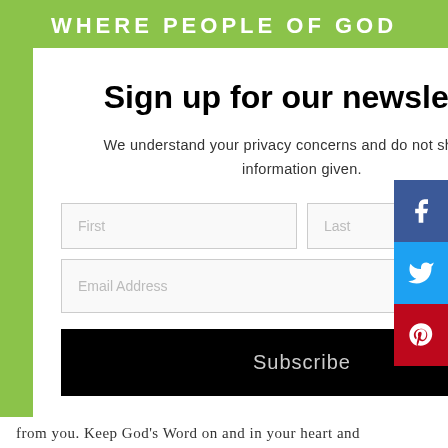WHERE PEOPLE OF GOD
Sign up for our newsletter
We understand your privacy concerns and do not share the information given.
First
Last
Email Address
Subscribe
from you. Keep God's Word on and in your heart and